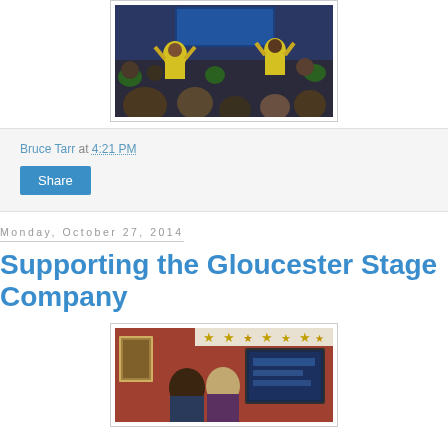[Figure (photo): People in yellow shirts at a conference or event on a stage with blue backdrop]
Bruce Tarr at 4:21 PM
Share
Monday, October 27, 2014
Supporting the Gloucester Stage Company
[Figure (photo): Two people posing inside a venue decorated with star bunting]